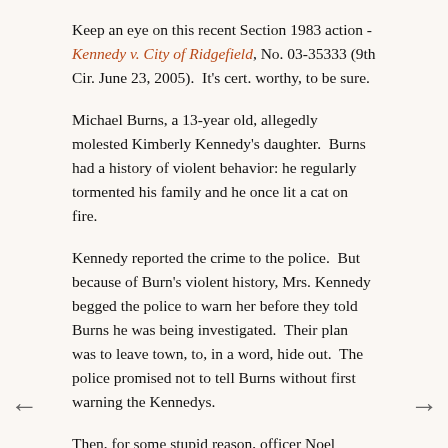Keep an eye on this recent Section 1983 action - Kennedy v. City of Ridgefield, No. 03-35333 (9th Cir. June 23, 2005).  It's cert. worthy, to be sure.
Michael Burns, a 13-year old, allegedly molested Kimberly Kennedy's daughter.  Burns had a history of violent behavior: he regularly tormented his family and he once lit a cat on fire.
Kennedy reported the crime to the police.  But because of Burn's violent history, Mrs. Kennedy begged the police to warn her before they told Burns he was being investigated.  Their plan was to leave town, to, in a word, hide out.  The police promised not to tell Burns without first warning the Kennedys.
Then, for some stupid reason, officer Noel Shields told Burns about the allegations.  When Mrs. Kennedy found out that Burns knew, she was terrified. Noel...